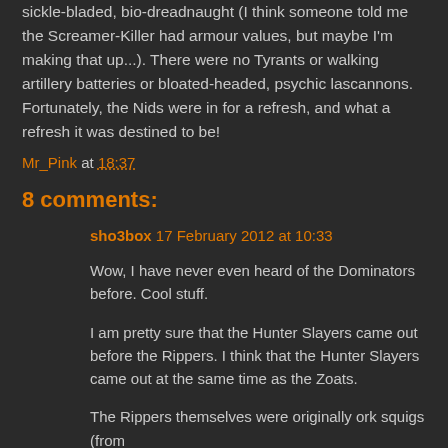sickle-bladed, bio-dreadnaught (I think someone told me the Screamer-Killer had armour values, but maybe I'm making that up...). There were no Tyrants or walking artillery batteries or bloated-headed, psychic lascannons. Fortunately, the Nids were in for a refresh, and what a refresh it was destined to be!
Mr_Pink at 18:37
8 comments:
sho3box 17 February 2012 at 10:33
Wow, I have never even heard of the Dominators before. Cool stuff.
I am pretty sure that the Hunter Slayers came out before the Rippers. I think that the Hunter Slayers came out at the same time as the Zoats.
The Rippers themselves were originally ork squigs (from